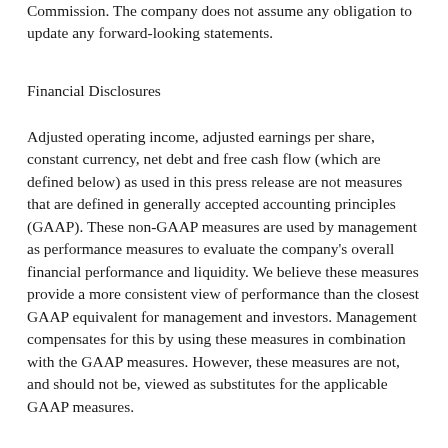Commission.  The company does not assume any obligation to update any forward-looking statements.
Financial Disclosures
Adjusted operating income, adjusted earnings per share, constant currency, net debt and free cash flow (which are defined below) as used in this press release are not measures that are defined in generally accepted accounting principles (GAAP). These non-GAAP measures are used by management as performance measures to evaluate the company’s overall financial performance and liquidity. We believe these measures provide a more consistent view of performance than the closest GAAP equivalent for management and investors.  Management compensates for this by using these measures in combination with the GAAP measures.  However, these measures are not, and should not be, viewed as substitutes for the applicable GAAP measures.